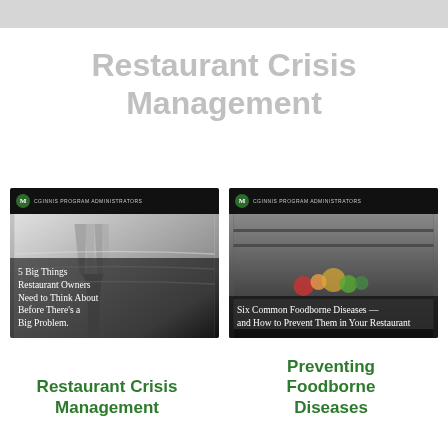[Figure (photo): Top partial image strip showing a blurred/cropped image at the top of the page]
Restaurant Crisis Management
[Figure (photo): Book/guide cover: '5 Big Things Restaurant Owners Need to Think About Before There's a Big Problem.' with fork and tablecloth image. McGinnis Program Administrators logo at top.]
[Figure (photo): Book/guide cover: 'Six Common Foodborne Diseases — and How to Prevent Them in Your Restaurant' with kitchen image. McGinnis Program Administrators logo at top.]
Restaurant Crisis Management
Preventing Foodborne Diseases